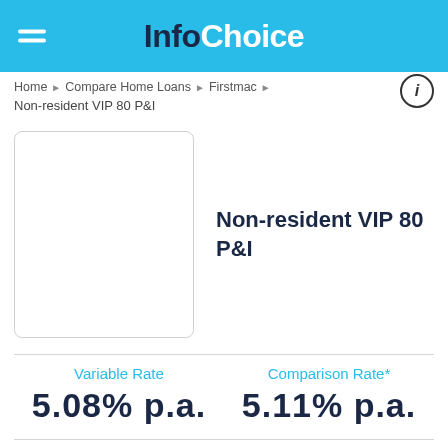InfoChoice
Home ▶ Compare Home Loans ▶ Firstmac ▶
Non-resident VIP 80 P&I
[Figure (logo): Empty white logo box with rounded border for Firstmac lender logo]
Non-resident VIP 80 P&I
Variable Rate
5.08% p.a.
Comparison Rate*
5.11% p.a.